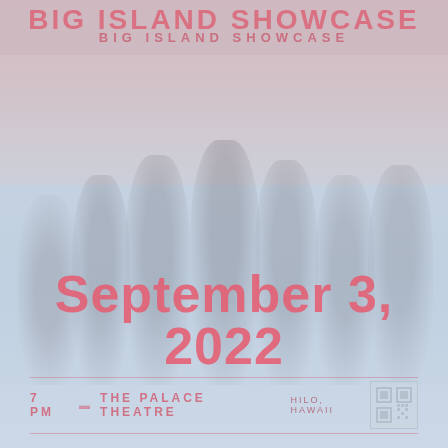BIG ISLAND SHOWCASE
[Figure (photo): Group photo of several men in formal attire (dark suits/tuxedos) posing together against a scenic outdoor backdrop with sky and landscape, faded/washed out appearance as background of event poster]
September 3, 2022
7 PM   THE PALACE THEATRE   HILO, HAWAII